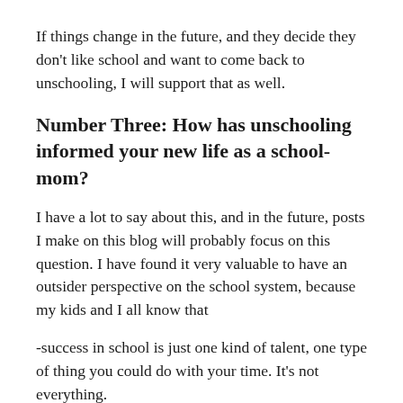If things change in the future, and they decide they don't like school and want to come back to unschooling, I will support that as well.
Number Three: How has unschooling informed your new life as a school-mom?
I have a lot to say about this, and in the future, posts I make on this blog will probably focus on this question. I have found it very valuable to have an outsider perspective on the school system, because my kids and I all know that
-success in school is just one kind of talent, one type of thing you could do with your time. It's not everything.